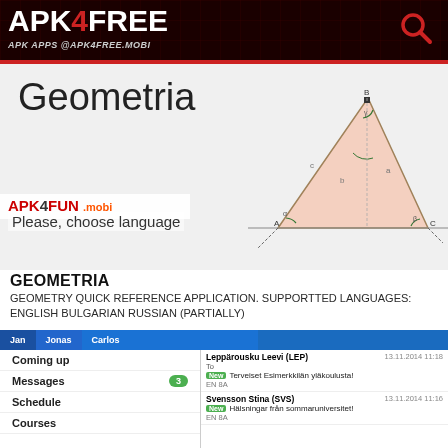APK4FREE APK APPS @APK4FREE.MOBI
[Figure (screenshot): App screenshot showing Geometria title and triangle geometry diagram with labeled angles and sides]
GEOMETRIA
GEOMETRY QUICK REFERENCE APPLICATION. SUPPORTTED LANGUAGES: ENGLISH BULGARIAN RUSSIAN (PARTIALLY)
[Figure (screenshot): Mobile app UI showing navigation tabs (Jan, Jonas, Carlos) and two-panel layout: left menu with Coming up, Messages (3), Schedule, Courses, Announcements, Exams; right panel showing messages from Leppärousku Leevi, Svensson Stina, Shakespeare Sharon]
APK4FUN